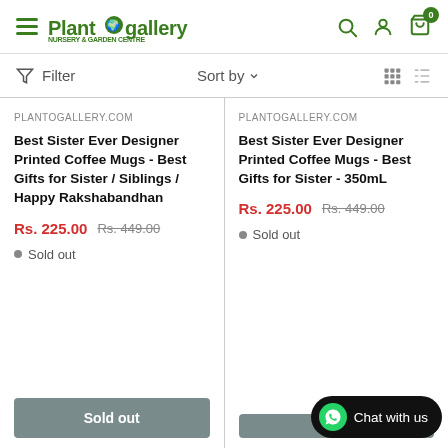PlantOgallery — navigation header with hamburger menu, logo, search, account, and cart (0 items)
Filter   Sort by   [grid view] [list view]
PLANTOGALLERY.COM
Best Sister Ever Designer Printed Coffee Mugs - Best Gifts for Sister / Siblings / Happy Rakshabandhan
Rs. 225.00  Rs. 449.00
● Sold out
Sold out
PLANTOGALLERY.COM
Best Sister Ever Designer Printed Coffee Mugs - Best Gifts for Sister - 350mL
Rs. 225.00  Rs. 449.00
● Sold out
Chat with us